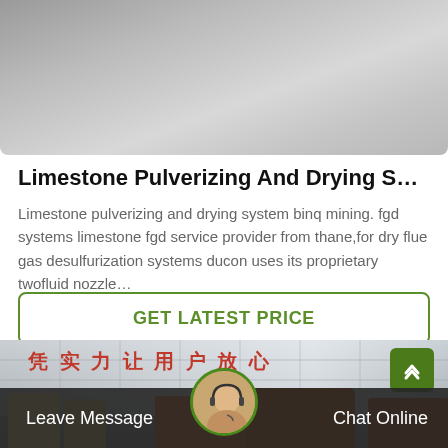[Figure (photo): Top photo showing a gray paved surface or road, close-up view from above]
Limestone Pulverizing And Drying System Binq Mining
Limestone pulverizing and drying system binq mining. fgd systems limestone fgd service provider from thane,for dry flue gas desulfurization systems ducon uses its proprietary twofluid nozzle…
GET LATEST PRICE
[Figure (photo): Bottom photo of a Chinese mining equipment factory with red Chinese characters on the building facade, and orange heavy machinery in the foreground]
Leave Message
Chat Online